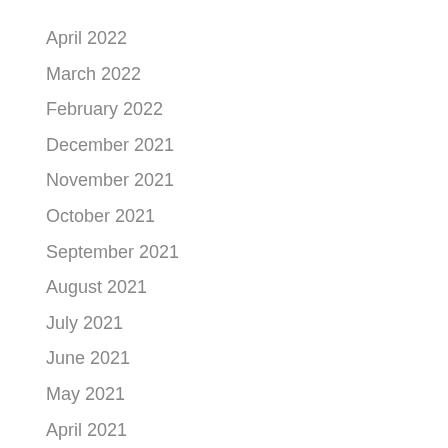April 2022
March 2022
February 2022
December 2021
November 2021
October 2021
September 2021
August 2021
July 2021
June 2021
May 2021
April 2021